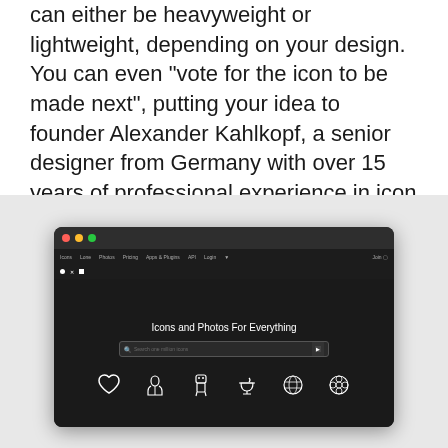can either be heavyweight or lightweight, depending on your design. You can even "vote for the icon to be made next", putting your idea to founder Alexander Kahlkopf, a senior designer from Germany with over 15 years of professional experience in icon design.
[Figure (screenshot): Screenshot of a dark-themed website showing 'Icons and Photos For Everything' with a search bar and sample icons at the bottom, displayed inside a macOS browser window]